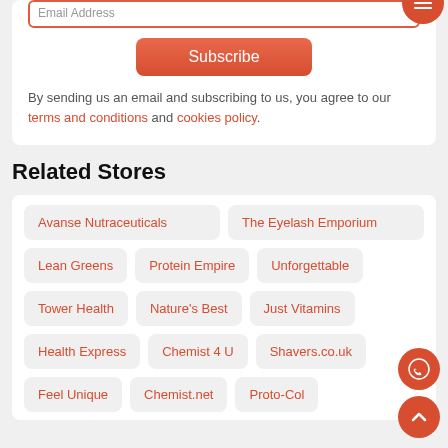Email Address
Subscribe
By sending us an email and subscribing to us, you agree to our terms and conditions and cookies policy.
Related Stores
Avanse Nutraceuticals
The Eyelash Emporium
Lean Greens
Protein Empire
Unforgettable
Tower Health
Nature's Best
Just Vitamins
Health Express
Chemist 4 U
Shavers.co.uk
Feel Unique
Chemist.net
Proto-Col